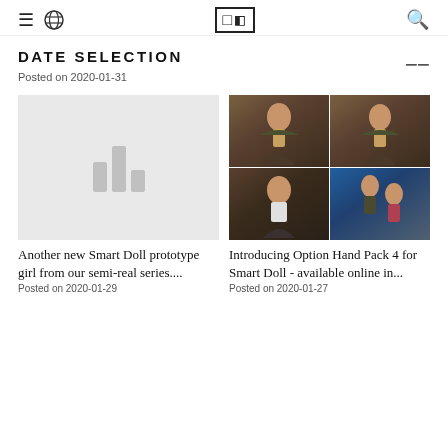≡ 🌐 [logo] 🔍
DATE SELECTION
Posted on 2020-01-31
[Figure (photo): Placeholder image with bar chart icon for Smart Doll prototype article]
Another new Smart Doll prototype girl from our semi-real series....
Posted on 2020-01-29
[Figure (photo): Four-panel photo grid of Smart Doll figures in various poses against a display wall backdrop]
Introducing Option Hand Pack 4 for Smart Doll - available online in...
Posted on 2020-01-27